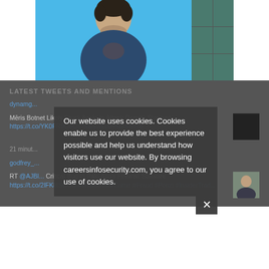[Figure (photo): Composite image of a man in a dark blue shirt against a blue background on the left, and a teal grid panel on the right]
LATEST TWEETS AND MENTIONS
dynamg... (Twitter link)
Meris Botnet Likely Stuck Again in Attack Google Stopped https://t.co/YK0FR9OeOx https://t.co/r4zl3rfeme
21 minut...
godfrey_... (Twitter link)
RT @AJBl... Critical Bug in Palo Alto's Firewall Software https://t.co/2lFK8lSCOB #WhiteCollarCrime #Fraud #Ponzi #InsiderTrad...
Our website uses cookies. Cookies enable us to provide the best experience possible and help us understand how visitors use our website. By browsing careersinfosecurity.com, you agree to our use of cookies.